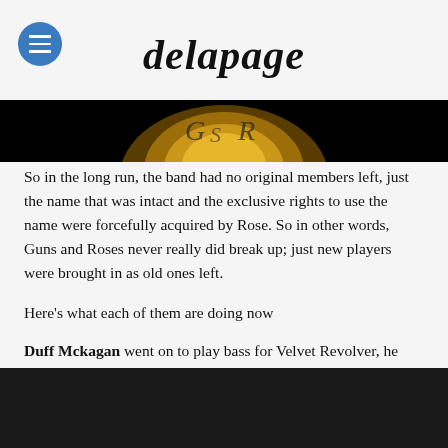delapage
[Figure (photo): Partial view of a gold and black circular logo (Guns N Roses) on a black background]
So in the long run, the band had no original members left, just the name that was intact and the exclusive rights to use the name were forcefully acquired by Rose. So in other words, Guns and Roses never really did break up; just new players were brought in as old ones left.
Here’s what each of them are doing now
Duff Mckagan went on to play bass for Velvet Revolver, he also completed an accounting degree at Seattle university.
[Figure (photo): Dark image, mostly black background, bottom of page]